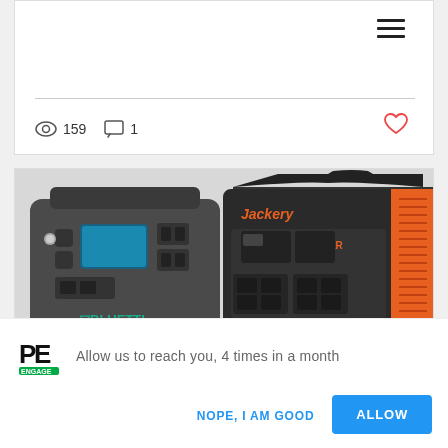[Figure (screenshot): Top card with hamburger menu icon, horizontal divider, eye icon showing 159 views, comment icon showing 1 comment, and a red heart icon]
[Figure (photo): Two portable power stations side by side: Bluetti (gray, left) and Jackery (orange/black, right)]
Allow us to reach you, 4 times in a month
NOPE, I AM GOOD
ALLOW